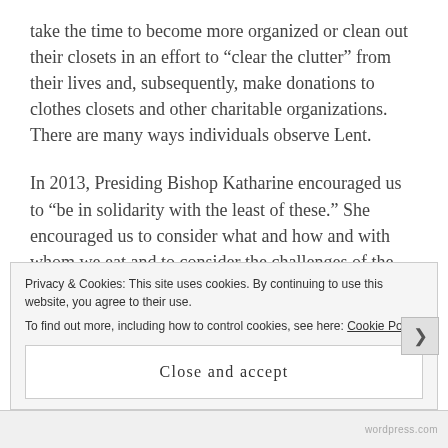take the time to become more organized or clean out their closets in an effort to “clear the clutter” from their lives and, subsequently, make donations to clothes closets and other charitable organizations.  There are many ways individuals observe Lent.
In 2013, Presiding Bishop Katharine encouraged us to “be in solidarity with the least of these.” She encouraged us to consider what and how and with whom we eat and to consider the challenges of the poor as they try to feed themselves and their
Privacy & Cookies: This site uses cookies. By continuing to use this website, you agree to their use.
To find out more, including how to control cookies, see here: Cookie Policy
Close and accept